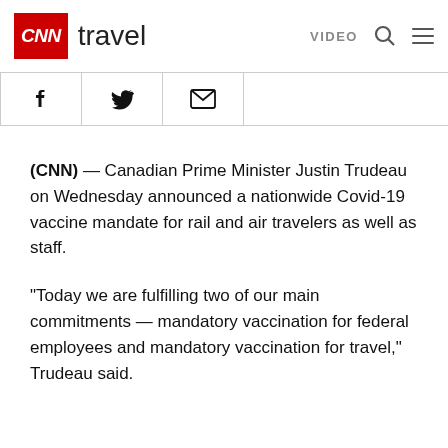CNN travel   VIDEO
[Figure (other): Social share icons bar: Facebook, Twitter, Email]
(CNN) — Canadian Prime Minister Justin Trudeau on Wednesday announced a nationwide Covid-19 vaccine mandate for rail and air travelers as well as staff.
"Today we are fulfilling two of our main commitments — mandatory vaccination for federal employees and mandatory vaccination for travel," Trudeau said.